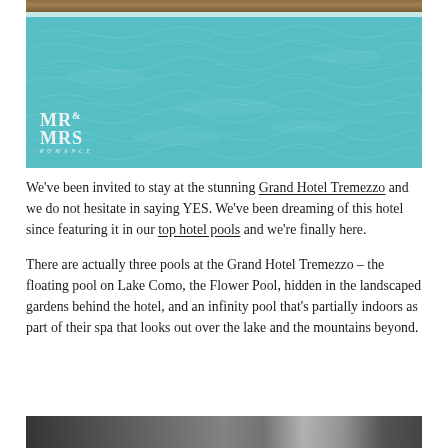[Figure (photo): Swimming pool with turquoise/teal water, wooden deck visible at top, and MR& MRS ROMANCE logo watermark at bottom left]
We've been invited to stay at the stunning Grand Hotel Tremezzo and we do not hesitate in saying YES. We've been dreaming of this hotel since featuring it in our top hotel pools and we're finally here.
There are actually three pools at the Grand Hotel Tremezzo – the floating pool on Lake Como, the Flower Pool, hidden in the landscaped gardens behind the hotel, and an infinity pool that's partially indoors as part of their spa that looks out over the lake and the mountains beyond.
[Figure (photo): Partial view of another photo at the bottom of the page, appears dark/shadowed]